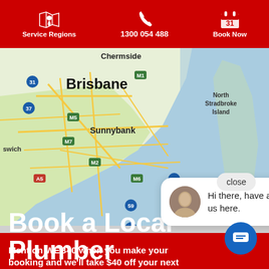Service Regions | 1300 054 488 | Book Now
[Figure (map): Google Maps view of Brisbane area showing Chermside, Sunnybank, North Stradbroke Island, and surrounding suburbs with major motorways M1, M2, M5, M6, M7, A5, 37, 31, 47, 59, 95 marked]
Hi there, have a question? Text us here.
Book a Local Plumber
Mention WEB40 when you make your booking and we'll take $40 off your next